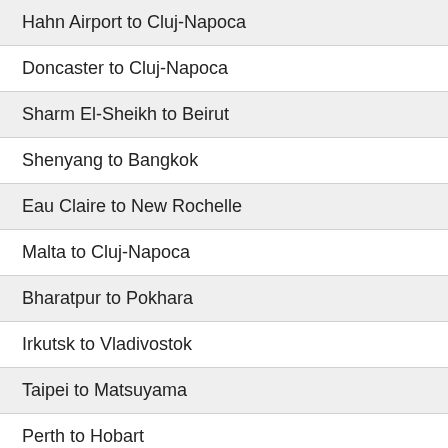Hahn Airport to Cluj-Napoca
Doncaster to Cluj-Napoca
Sharm El-Sheikh to Beirut
Shenyang to Bangkok
Eau Claire to New Rochelle
Malta to Cluj-Napoca
Bharatpur to Pokhara
Irkutsk to Vladivostok
Taipei to Matsuyama
Perth to Hobart
France to Portugal